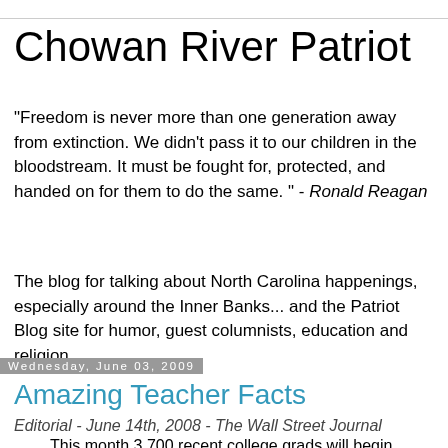Chowan River Patriot
"Freedom is never more than one generation away from extinction. We didn't pass it to our children in the bloodstream. It must be fought for, protected, and handed on for them to do the same. " - Ronald Reagan
The blog for talking about North Carolina happenings, especially around the Inner Banks... and the Patriot Blog site for humor, guest columnists, education and religion.
Wednesday, June 03, 2009
Amazing Teacher Facts
Editorial - June 14th, 2008 - The Wall Street Journal
This month 3,700 recent college grads will begin Teach for America's five week boot camp, before